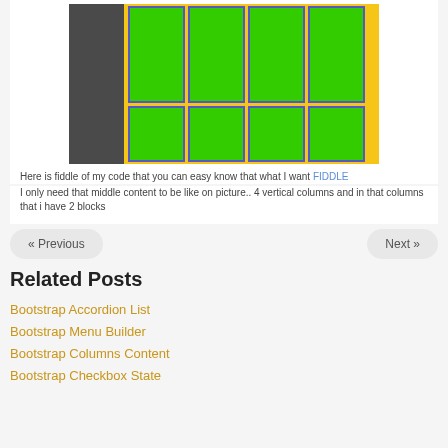[Figure (screenshot): Screenshot of a Bootstrap layout demo showing 4 vertical green columns with blue borders on a yellow and dark-gray background. Each column has 2 green blocks stacked vertically.]
Here is fiddle of my code that you can easy know that what I want FIDDLE
I only need that middle content to be like on picture.. 4 vertical columns and in that columns that i have 2 blocks
« Previous
Next »
Related Posts
Bootstrap Accordion List
Bootstrap Menu Builder
Bootstrap Columns Content
Bootstrap Checkbox State